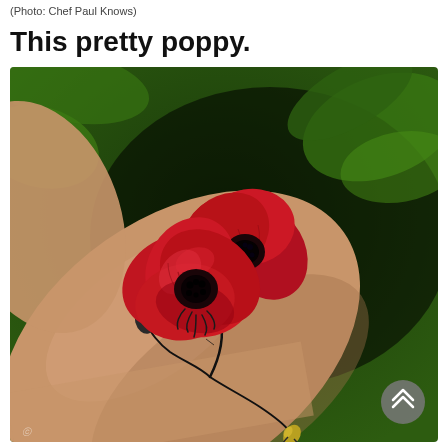(Photo: Chef Paul Knows)
This pretty poppy.
[Figure (photo): A photograph of a person's arm with a realistic red poppy flower tattoo, featuring vivid red petals and dark stem with buds, against a blurred green leaf background. A grey circular scroll-up button is visible in the bottom right corner of the image.]